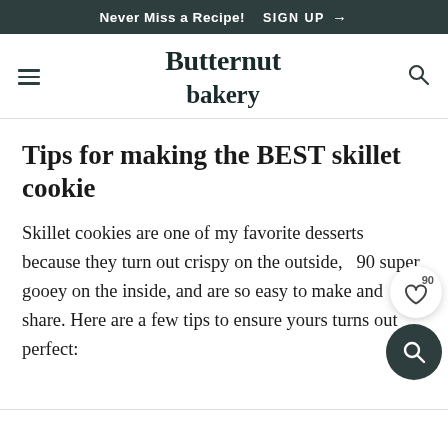Never Miss a Recipe! SIGN UP →
Butternut bakery
Tips for making the BEST skillet cookie
Skillet cookies are one of my favorite desserts because they turn out crispy on the outside, super gooey on the inside, and are so easy to make and share. Here are a few tips to ensure yours turns out perfect: